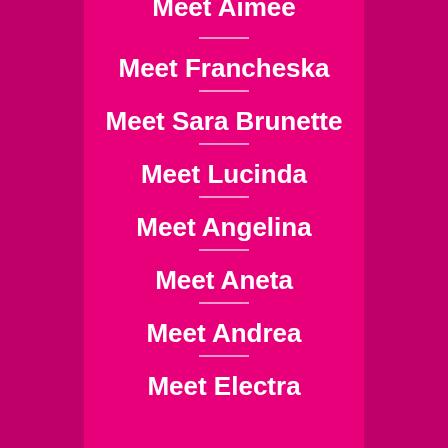Meet Aimee
Meet Francheska
Meet Sara Brunette
Meet Lucinda
Meet Angelina
Meet Aneta
Meet Andrea
Meet Electra